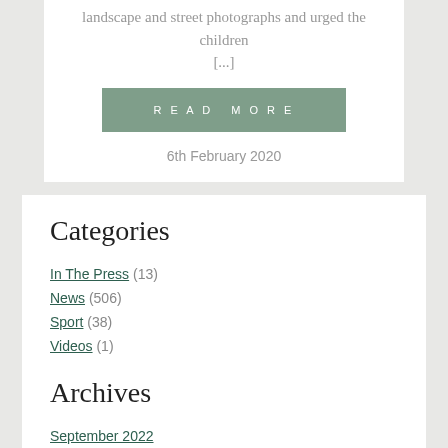landscape and street photographs and urged the children [...]
READ MORE
6th February 2020
Categories
In The Press (13)
News (506)
Sport (38)
Videos (1)
Archives
September 2022
July 2022